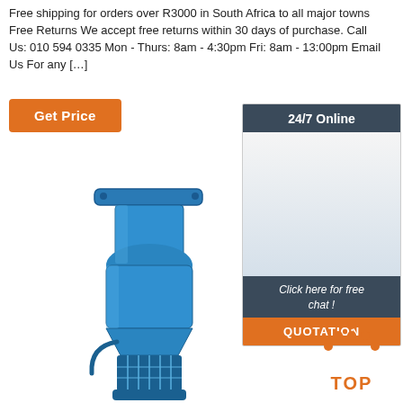Free shipping for orders over R3000 in South Africa to all major towns Free Returns We accept free returns within 30 days of purchase. Call Us: 010 594 0335 Mon - Thurs: 8am - 4:30pm Fri: 8am - 13:00pm Email Us For any [...]
Get Price
[Figure (photo): Customer service representative with headset, smiling. Banner showing 24/7 Online, Click here for free chat!, and QUOTATION button.]
[Figure (photo): Blue vertical turbine pump / submersible pump with motor housing, intake screen and flanged discharge head.]
[Figure (illustration): TOP navigation icon with orange dots forming an upward arrow above the text TOP in orange.]